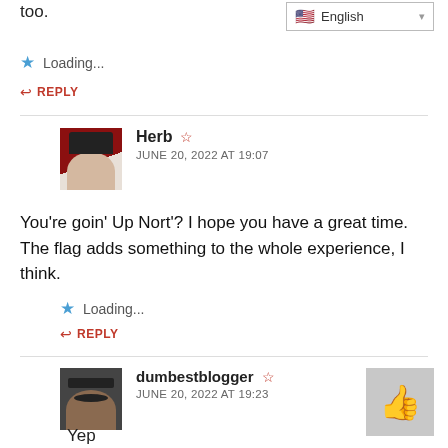too.
Loading...
REPLY
Herb  JUNE 20, 2022 AT 19:07
You’re goin’ Up Nort’? I hope you have a great time. The flag adds something to the whole experience, I think.
Loading...
REPLY
dumbestblogger  JUNE 20, 2022 AT 19:23
Yep